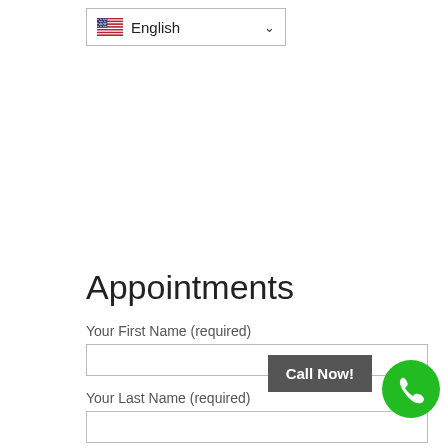[Figure (screenshot): Language selector dropdown showing US flag and 'English' with a chevron/down arrow]
Appointments
Your First Name (required)
Your Last Name (required)
Your Email (required)
[Figure (other): Call Now! button (dark gray) and green phone circle button in bottom-right corner]